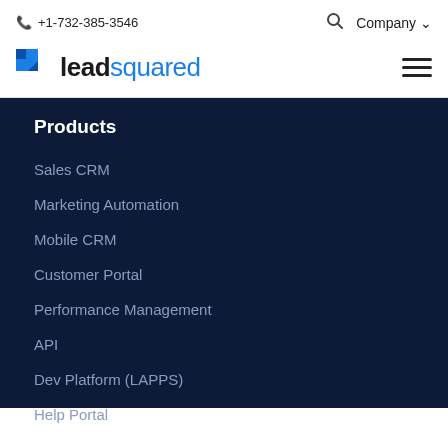+1-732-385-3546   Company
[Figure (logo): LeadSquared logo with blue square icon and text 'leadsquared']
Products
Sales CRM
Marketing Automation
Mobile CRM
Customer Portal
Performance Management
API
Dev Platform (LAPPS)
Help Portal